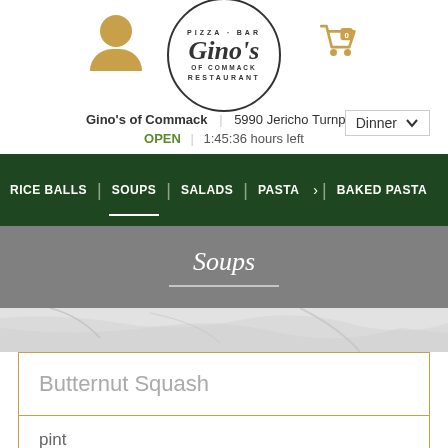[Figure (logo): Gino's of Commack restaurant logo - circular badge with text PIZZA BAR RESTAURANT around the edge and Gino's in script lettering]
Gino's of Commack | 5990 Jericho Turnpike
OPEN | 1:45:36 hours left
Dinner
RICE BALLS | SOUPS | SALADS | PASTA > | BAKED PASTA
Soups
Butternut Squash
pint